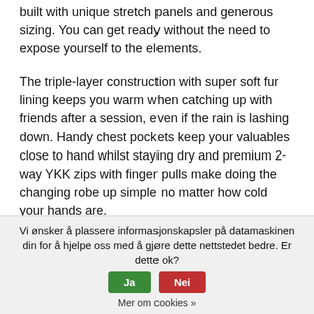built with unique stretch panels and generous sizing. You can get ready without the need to expose yourself to the elements.
The triple-layer construction with super soft fur lining keeps you warm when catching up with friends after a session, even if the rain is lashing down. Handy chest pockets keep your valuables close to hand whilst staying dry and premium 2-way YKK zips with finger pulls make doing the changing robe up simple no matter how cold your hands are.
The Pro Change robe also benefits from a front wind protective flap with poppers for quick and convenient closure. Whether using it like a waterproof jacket for any outdoor activity or using it to get changed under, you'll
Vi ønsker å plassere informasjonskapsler på datamaskinen din for å hjelpe oss med å gjøre dette nettstedet bedre. Er dette ok?
Mer om cookies »